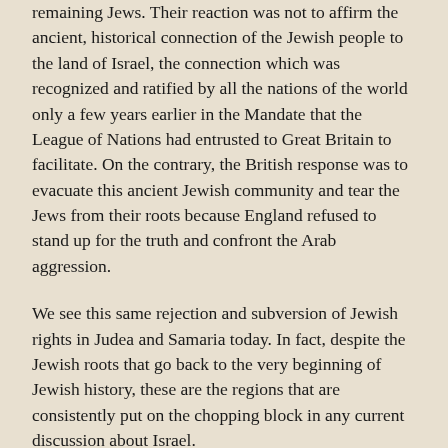remaining Jews. Their reaction was not to affirm the ancient, historical connection of the Jewish people to the land of Israel, the connection which was recognized and ratified by all the nations of the world only a few years earlier in the Mandate that the League of Nations had entrusted to Great Britain to facilitate. On the contrary, the British response was to evacuate this ancient Jewish community and tear the Jews from their roots because England refused to stand up for the truth and confront the Arab aggression.
We see this same rejection and subversion of Jewish rights in Judea and Samaria today. In fact, despite the Jewish roots that go back to the very beginning of Jewish history, these are the regions that are consistently put on the chopping block in any current discussion about Israel.
Furthermore, those Jews who live in Judea and Samaria, who simply refuse to abandon the Jewish home, history, and heritage, are regularly vilified and are the victims of verbal, economic and even mortal assaults.